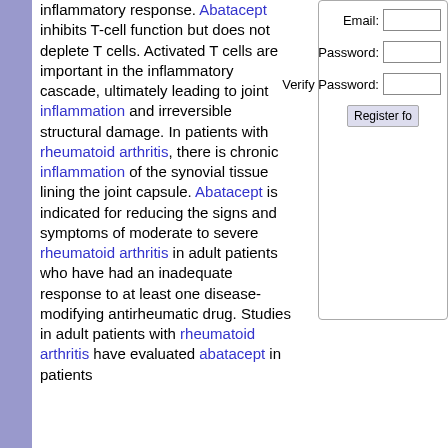inflammatory response. Abatacept inhibits T-cell function but does not deplete T cells. Activated T cells are important in the inflammatory cascade, ultimately leading to joint inflammation and irreversible structural damage. In patients with rheumatoid arthritis, there is chronic inflammation of the synovial tissue lining the joint capsule. Abatacept is indicated for reducing the signs and symptoms of moderate to severe rheumatoid arthritis in adult patients who have had an inadequate response to at least one disease-modifying antirheumatic drug. Studies in adult patients with rheumatoid arthritis have evaluated abatacept in patients
[Figure (screenshot): Web form with fields for Email, Password, Verify Password, and a Register button]